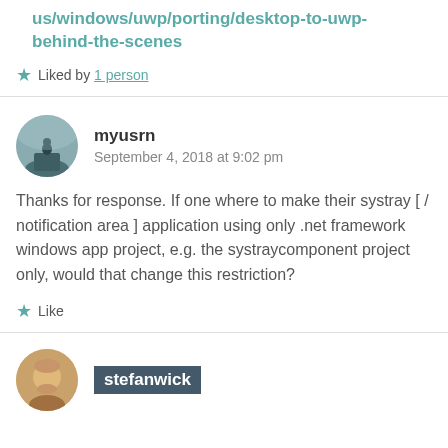us/windows/uwp/porting/desktop-to-uwp-behind-the-scenes
Liked by 1 person
myusrn
September 4, 2018 at 9:02 pm
Thanks for response. If one where to make their systray [ / notification area ] application using only .net framework windows app project, e.g. the systraycomponent project only, would that change this restriction?
Like
stefanwick